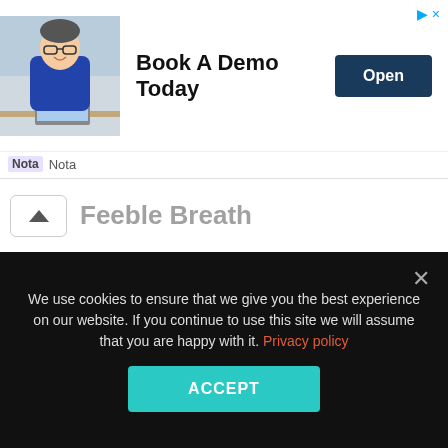[Figure (screenshot): Advertisement banner for 'Nota' with photo of smiling businessman, text 'Book A Demo Today' and an 'Open' button. Ad icons in top right corner.]
Feeble Breath (partially visible)
He will breathe out its last breath. His body will really seem to flatten marginally as the lungs unfilled.
Feeble Body:
His body will go totally limp. You will find him feeble.
We use cookies to ensure that we give you the best experience on our website. If you continue to use this site we will assume that you are happy with it. Privacy policy
ACCEPT